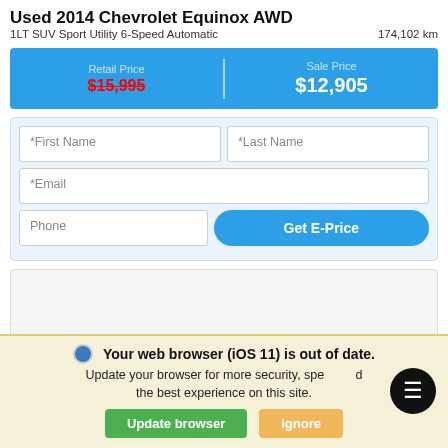Used 2014 Chevrolet Equinox AWD
1LT SUV Sport Utility 6-Speed Automatic    174,102 km
[Figure (infographic): Blue price banner showing Retail Price $15,995 (strikethrough) and Sale Price $12,905]
[Figure (screenshot): Web form with First Name, Last Name, Email, Phone fields and Get E-Price button]
[Figure (other): Image Coming Soon placeholder box]
Your web browser (iOS 11) is out of date. Update your browser for more security, speed and the best experience on this site.
Update browser   Ignore